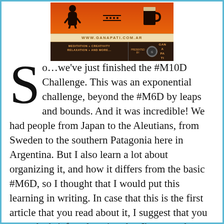[Figure (logo): Ganapati brand banner with orange/brown color scheme showing a meditation silhouette, horizontal lines with dots, a beer mug icon, the URL www.ganapati.com.ar, and text 'MEDITATION + CREATIVITY RELAXATION + AND MORE...' with 'PRESENTED BY GANAPATI' on a dark brown background.]
So…we've just finished the #M10D Challenge. This was an exponential challenge, beyond the #M6D by leaps and bounds. And it was incredible! We had people from Japan to the Aleutians, from Sweden to the southern Patagonia here in Argentina. But I also learn a lot about organizing it, and how it differs from the basic #M6D, so I thought that I would put this learning in writing. In case that this is the first article that you read about it, I suggest that you go to the brief explanation that I've posted